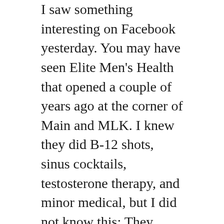I saw something interesting on Facebook yesterday. You may have seen Elite Men's Health that opened a couple of years ago at the corner of Main and MLK. I knew they did B-12 shots, sinus cocktails, testosterone therapy, and minor medical, but I did not know this: They have hydration therapy for those days when you feel like you got run over by a truck the night before. That could be really useful for a lot of Downtowners, particularly during BBQ Fest.
In other Facebook news, I saw my first Elf on the Shelf photo of the season yesterday. UGH
Lots of people volunteer on Thanksgiving or Christmas… but volunteers are needed year